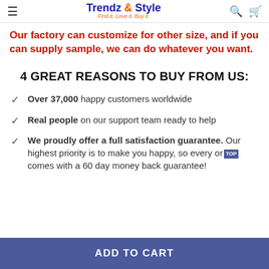Trendz & Style — Find it. Love it. Buy it.
Our factory can customize for other size, and if you can supply sample, we can do whatever you want.
4 GREAT REASONS TO BUY FROM US:
Over 37,000 happy customers worldwide
Real people on our support team ready to help
We proudly offer a full satisfaction guarantee. Our highest priority is to make you happy, so every order comes with a 60 day money back guarantee!
ADD TO CART